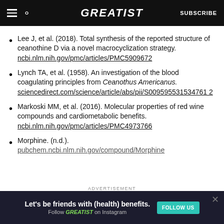GREATIST | SUBSCRIBE
Lee J, et al. (2018). Total synthesis of the reported structure of ceanothine D via a novel macrocyclization strategy. ncbi.nlm.nih.gov/pmc/articles/PMC5909672
Lynch TA, et al. (1958). An investigation of the blood coagulating principles from Ceanothus Americanus. sciencedirect.com/science/article/abs/pii/S0009595531534761 2
Markoski MM, et al. (2016). Molecular properties of red wine compounds and cardiometabolic benefits. ncbi.nlm.nih.gov/pmc/articles/PMC4973766
Morphine. (n.d.). pubchem.ncbi.nlm.nih.gov/compound/Morphine
[Figure (screenshot): Advertisement banner: Let's be friends with (health) benefits. Follow GREATIST on Instagram. FOLLOW US button.]